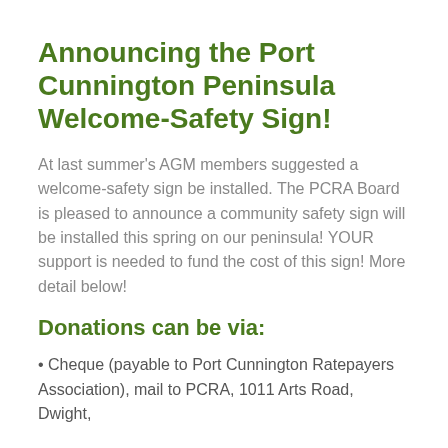Announcing the Port Cunnington Peninsula Welcome-Safety Sign!
At last summer's AGM members suggested a welcome-safety sign be installed. The PCRA Board is pleased to announce a community safety sign will be installed this spring on our peninsula! YOUR support is needed to fund the cost of this sign! More detail below!
Donations can be via:
• Cheque (payable to Port Cunnington Ratepayers Association), mail to PCRA, 1011 Arts Road, Dwight, Ontario, P0A 1H0